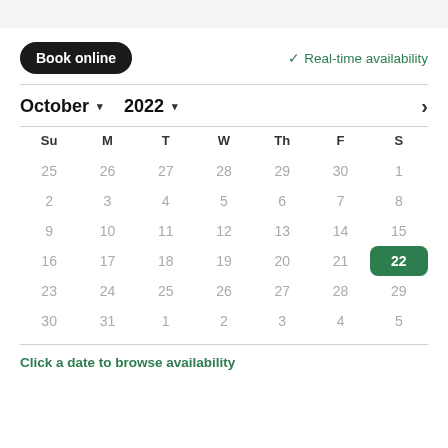Book online
✓ Real-time availability
October ▾ 2022 ▾
| Su | M | T | W | Th | F | S |
| --- | --- | --- | --- | --- | --- | --- |
| 25 | 26 | 27 | 28 | 29 | 30 | 1 |
| 2 | 3 | 4 | 5 | 6 | 7 | 8 |
| 9 | 10 | 11 | 12 | 13 | 14 | 15 |
| 16 | 17 | 18 | 19 | 20 | 21 | 22 |
| 23 | 24 | 25 | 26 | 27 | 28 | 29 |
| 30 | 31 | 1 | 2 | 3 | 4 | 5 |
Click a date to browse availability